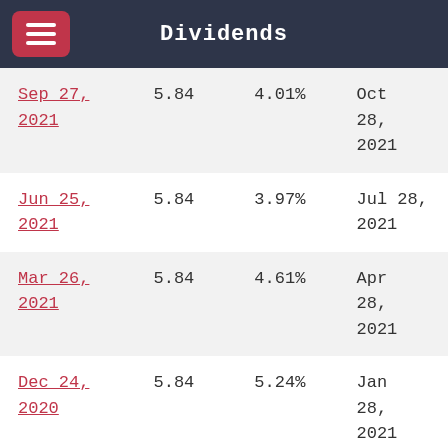Dividends
| Ex-Dividend Date | Dividend | Yield | Payment Date |
| --- | --- | --- | --- |
| Sep 27, 2021 | 5.84 | 4.01% | Oct 28, 2021 |
| Jun 25, 2021 | 5.84 | 3.97% | Jul 28, 2021 |
| Mar 26, 2021 | 5.84 | 4.61% | Apr 28, 2021 |
| Dec 24, 2020 | 5.84 | 5.24% | Jan 28, 2021 |
| Sep 25, 2020 | 5.84 | 5.7% | Oct 28, |